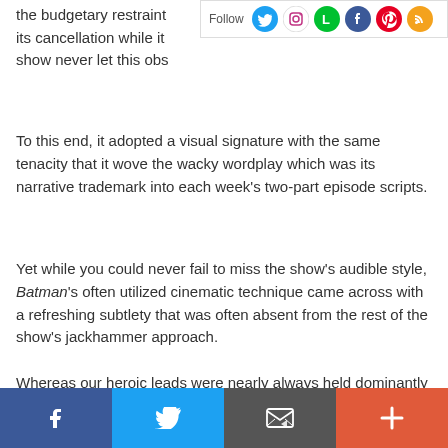the budgetary restraint... its cancellation while it... show never let this obs...
[Figure (infographic): Social follow bar with Follow text and icons: Twitter, Instagram, Letterboxd, Facebook, Pinterest, RSS]
To this end, it adopted a visual signature with the same tenacity that it wove the wacky wordplay which was its narrative trademark into each week's two-part episode scripts.
Yet while you could never fail to miss the show's audible style, Batman's often utilized cinematic technique came across with a refreshing subtlety that was often absent from the rest of the show's jackhammer approach.
Whereas our heroic leads were nearly always held dominantly in the frame – looking stoic, resolved and straight as an arrow – frequently, and only whenever we were in the presence of the show's "audacious adversaries" that were "capable of such capricious crimes," the frame is almost always positioned just barely off-kilter as we size up the
[Figure (infographic): Bottom share bar with four buttons: Facebook (blue), Twitter (light blue), Email/envelope (dark gray), More/plus (orange-red)]